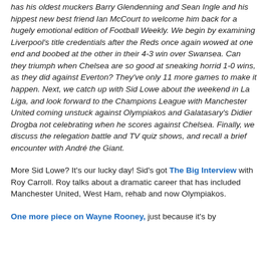has his oldest muckers Barry Glendenning and Sean Ingle and his hippest new best friend Ian McCourt to welcome him back for a hugely emotional edition of Football Weekly. We begin by examining Liverpool's title credentials after the Reds once again wowed at one end and boobed at the other in their 4-3 win over Swansea. Can they triumph when Chelsea are so good at sneaking horrid 1-0 wins, as they did against Everton? They've only 11 more games to make it happen. Next, we catch up with Sid Lowe about the weekend in La Liga, and look forward to the Champions League with Manchester United coming unstuck against Olympiakos and Galatasary's Didier Drogba not celebrating when he scores against Chelsea. Finally, we discuss the relegation battle and TV quiz shows, and recall a brief encounter with André the Giant.
More Sid Lowe? It's our lucky day! Sid's got The Big Interview with Roy Carroll. Roy talks about a dramatic career that has included Manchester United, West Ham, rehab and now Olympiakos.
One more piece on Wayne Rooney, just because it's by